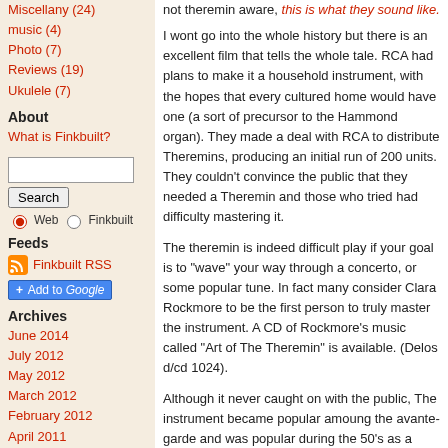Miscellany (24)
music (4)
Photo (7)
Reviews (19)
Ukulele (7)
About
What is Finkbuilt?
Feeds
Finkbuilt RSS
Add to Google
Archives
June 2014
July 2012
May 2012
March 2012
February 2012
April 2011
March 2011
not theremin aware, this is what they sound like.
I wont go into the whole history but there is an excellent film that tells the whole tale. RCA had plans to make it a household instrument, with the hopes that every cultured home would have one (a sort of precursor to the Hammond organ). They made a deal with RCA to distribute Theremins, producing an initial run of 200 units. They couldn't convince the public that they needed a Theremin and those who tried had difficulty mastering it.
The theremin is indeed difficult play if your goal is to "wave" your way through a concerto, or some popular tune. In fact many consider Clara Rockmore to be the first person to truly master the instrument. A CD of Rockmore's music called "Art of The Theremin" is available. (Delos d/cd 1024).
Although it never caught on with the public, The instrument became popular amoung the avante-garde and was popular during the 50's as a novelty item and Sci-Fi film soundtracks,as well as amoung composers of the early Electronic Lounge genre recordings. Although the Theremin may not have been a comercial success, its' impact on the evolution of popular music is enormous. The Theremin was the first electronic musical instrument, and the forbearer of all electronic music pioneers.
Robert Moog got his start in fact building and playing theremins in the late e1940's. Certainly, Popular music would not have followed the path that it did, had Moog not become interested in electronic music, as a result of the later developments that he made. Now Moog has returned to the theremin and qute a bit of success with his Etherwave line of theremins.
Right about the time of the beginning of the lastest revival in